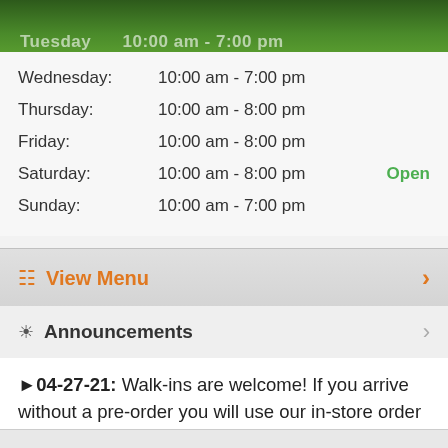Tuesday: 10:00 am - 7:00 pm
Wednesday: 10:00 am - 7:00 pm
Thursday: 10:00 am - 8:00 pm
Friday: 10:00 am - 8:00 pm
Saturday: 10:00 am - 8:00 pm  Open
Sunday: 10:00 am - 7:00 pm
View Menu
Announcements
04-27-21: Walk-ins are welcome! If you arrive without a pre-order you will use our in-store order kiosk to make your order. Welcome to a new era of cannabis!